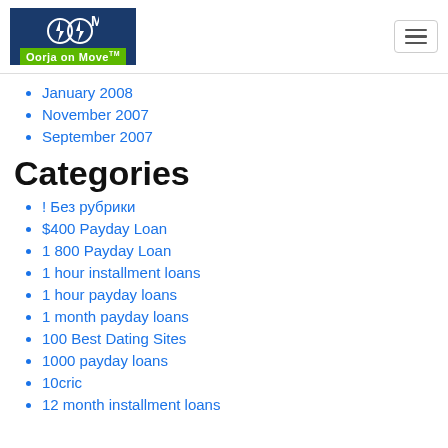Oorja on Move™ — navigation header with logo and hamburger menu
January 2008
November 2007
September 2007
Categories
! Без рубрики
$400 Payday Loan
1 800 Payday Loan
1 hour installment loans
1 hour payday loans
1 month payday loans
100 Best Dating Sites
1000 payday loans
10cric
12 month installment loans